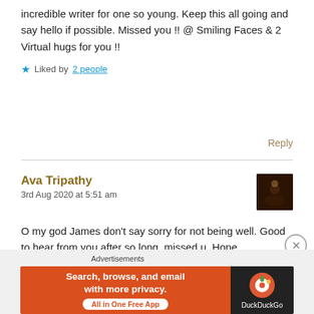incredible writer for one so young. Keep this all going and say hello if possible. Missed you !! @ Smiling Faces & 2 Virtual hugs for you !!
★ Liked by 2 people
Reply
Ava Tripathy
3rd Aug 2020 at 5:51 am
O my god James don't say sorry for not being well. Good to hear from you after so long, missed u. Hope
Advertisements
Search, browse, and email with more privacy. All in One Free App  DuckDuckGo